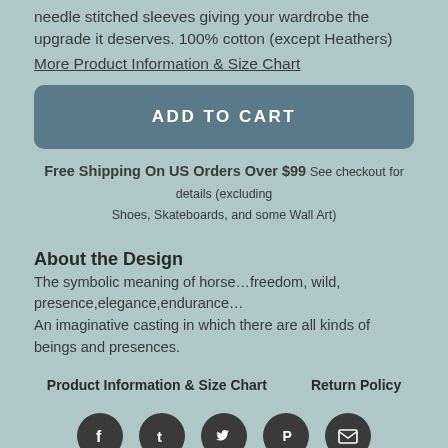needle stitched sleeves giving your wardrobe the upgrade it deserves. 100% cotton (except Heathers)
More Product Information & Size Chart
ADD TO CART
Free Shipping On US Orders Over $99 See checkout for details (excluding Shoes, Skateboards, and some Wall Art)
About the Design
The symbolic meaning of horse…freedom, wild, presence,elegance,endurance…
An imaginative casting in which there are all kinds of beings and presences.
Product Information & Size Chart     Return Policy
[Figure (other): Row of five dark circular social media icons: Facebook, Tumblr, Twitter, Pinterest, Email]
Horse in the casting is also available on